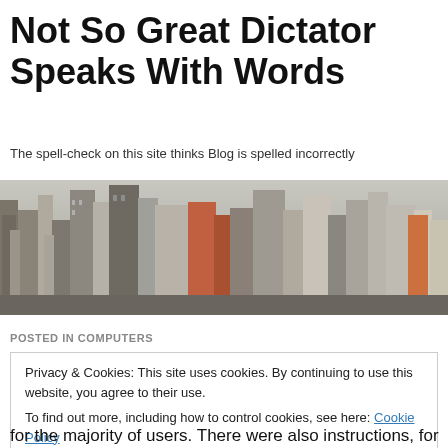Not So Great Dictator Speaks With Words
The spell-check on this site thinks Blog is spelled incorrectly
[Figure (photo): Aerial view of a dense urban cityscape with tall skyscrapers and buildings, muted tones, top-down perspective]
POSTED IN COMPUTERS
Privacy & Cookies: This site uses cookies. By continuing to use this website, you agree to their use.
To find out more, including how to control cookies, see here: Cookie Policy
for the majority of users. There were also instructions, for